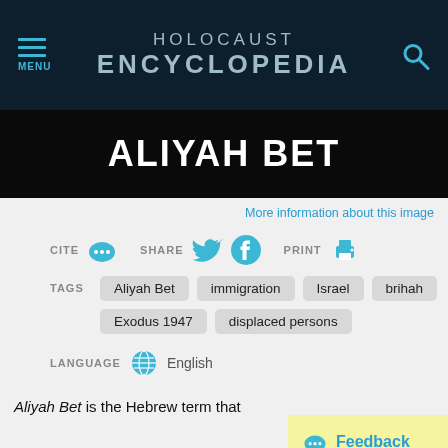HOLOCAUST ENCYCLOPEDIA
ALIYAH BET
More information about this image
CITE  SHARE  PRINT
TAGS: Aliyah Bet  immigration  Israel  brihah  Exodus 1947  displaced persons
LANGUAGE  English
Aliyah Bet is the Hebrew term that